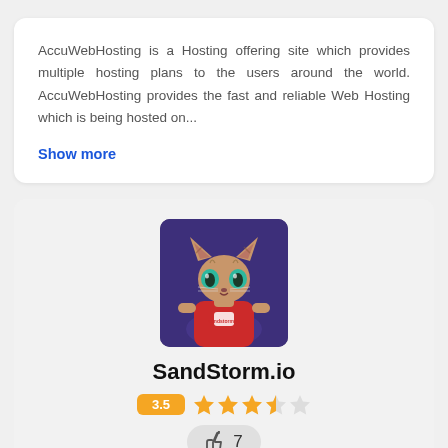AccuWebHosting is a Hosting offering site which provides multiple hosting plans to the users around the world. AccuWebHosting provides the fast and reliable Web Hosting which is being hosted on...
Show more
[Figure (illustration): Cartoon cat mascot with green eyes wearing a red t-shirt, on a purple background. Represents SandStorm.io brand logo.]
SandStorm.io
3.5 (star rating: 3.5 out of 5 stars)
7 thumbs up